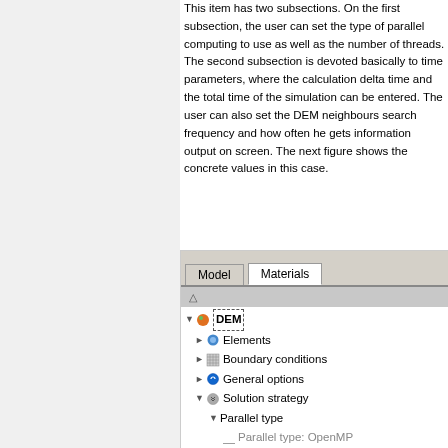This item has two subsections. On the first subsection, the user can set the type of parallel computing to use as well as the number of threads. The second subsection is devoted basically to time parameters, where the calculation delta time and the total time of the simulation can be entered. The user can also set the DEM neighbours search frequency and how often he gets information output on screen. The next figure shows the concrete values in this case.
[Figure (screenshot): Software GUI screenshot showing a tree view with Model and Materials tabs. The tree shows DEM node expanded with Elements, Boundary conditions, General options, Solution strategy (expanded with Parallel type showing 'Parallel type: OpenMP' and 'Number of threads: 4', and Time parameters with Delta time (s): 5e-5 visible at bottom).]